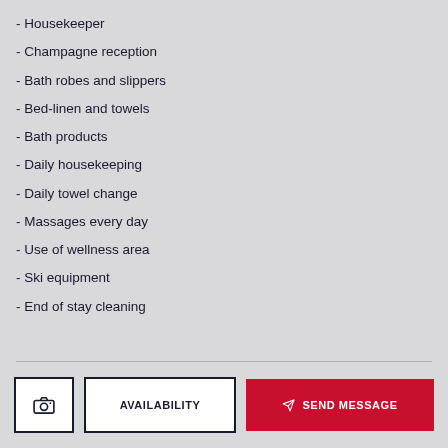- Housekeeper
- Champagne reception
- Bath robes and slippers
- Bed-linen and towels
- Bath products
- Daily housekeeping
- Daily towel change
- Massages every day
- Use of wellness area
- Ski equipment
- End of stay cleaning
AVAILABILITY | SEND MESSAGE